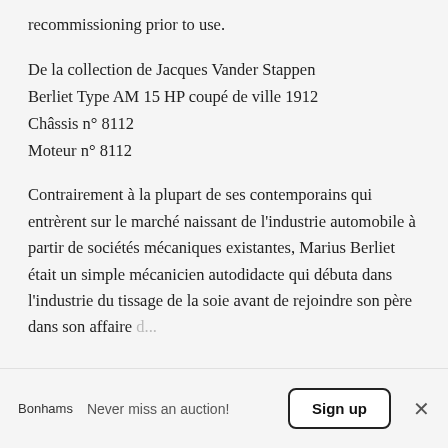recommissioning prior to use.
De la collection de Jacques Vander Stappen
Berliet Type AM 15 HP coupé de ville 1912
Châssis n° 8112
Moteur n° 8112
Contrairement à la plupart de ses contemporains qui entrèrent sur le marché naissant de l'industrie automobile à partir de sociétés mécaniques existantes, Marius Berliet était un simple mécanicien autodidacte qui débuta dans l'industrie du tissage de la soie avant de rejoindre son père dans son affaire d...
Bonhams   Never miss an auction!   Sign up   ×